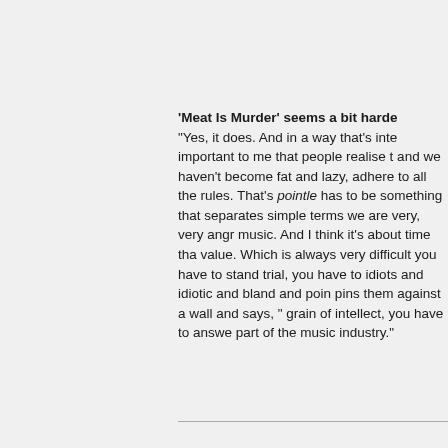'Meat Is Murder' seems a bit harde
"Yes, it does. And in a way that's inte important to me that people realise t and we haven't become fat and lazy, adhere to all the rules. That's pointle has to be something that separates simple terms we are very, very angr music. And I think it's about time tha value. Which is always very difficult you have to stand trial, you have to idiots and idiotic and bland and poin pins them against a wall and says, " grain of intellect, you have to answe part of the music industry."